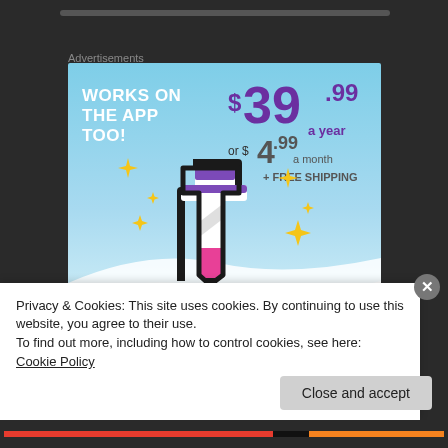Advertisements
[Figure (illustration): Tumblr Ad-Free Browsing advertisement showing the Tumblr logo, price $39.99 a year or $4.99 a month + FREE SHIPPING, and text WORKS ON THE APP TOO!]
Privacy & Cookies: This site uses cookies. By continuing to use this website, you agree to their use.
To find out more, including how to control cookies, see here: Cookie Policy
Close and accept